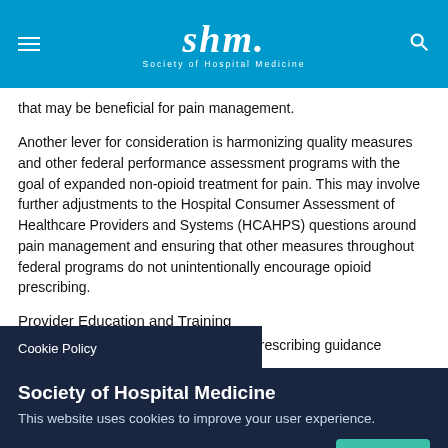SHM - Society of Hospital Medicine
that may be beneficial for pain management.
Another lever for consideration is harmonizing quality measures and other federal performance assessment programs with the goal of expanded non-opioid treatment for pain. This may involve further adjustments to the Hospital Consumer Assessment of Healthcare Providers and Systems (HCAHPS) questions around pain management and ensuring that other measures throughout federal programs do not unintentionally encourage opioid prescribing.
Provider Education and Training
by our opioid prescribing guidance statement.
Cookie Policy
Society of Hospital Medicine
This website uses cookies to improve your user experience.